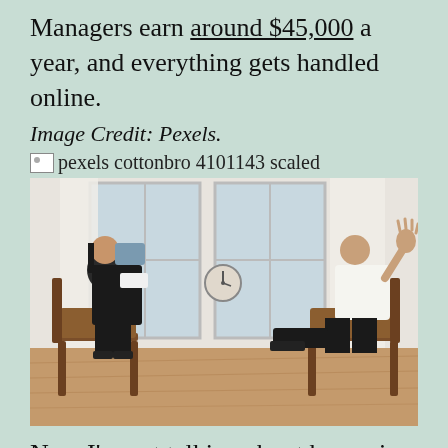Managers earn around $45,000 a year, and everything gets handled online.
Image Credit: Pexels.
pexels cottonbro 4101143 scaled
[Figure (photo): Two people sitting across from each other in wooden chairs in a bright room with large windows. A woman on the left wearing glasses and holding a notebook, a man on the right with a beard gesturing with his hand raised. A clock is visible on the wall between them, and the floor is hardwood.]
Now I'm not talking about becoming a soccer